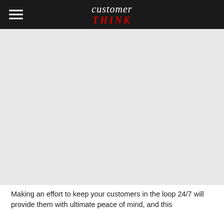customer THINK
[Figure (other): Advertisement or placeholder image area (blank/gray)]
Making an effort to keep your customers in the loop 24/7 will provide them with ultimate peace of mind, and this